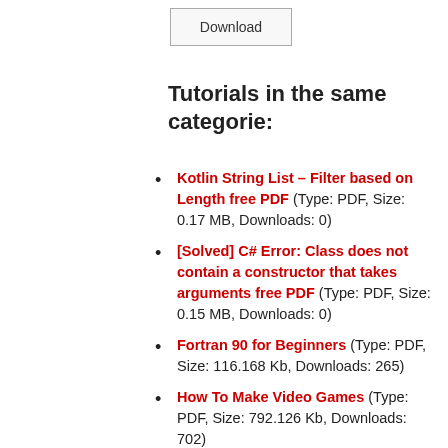Download
Tutorials in the same categories:
Kotlin String List – Filter based on Length free PDF (Type: PDF, Size: 0.17 MB, Downloads: 0)
[Solved] C# Error: Class does not contain a constructor that takes arguments free PDF (Type: PDF, Size: 0.15 MB, Downloads: 0)
Fortran 90 for Beginners (Type: PDF, Size: 116.168 Kb, Downloads: 265)
How To Make Video Games (Type: PDF, Size: 792.126 Kb, Downloads: 702)
Programming for Computations - Python (Type: PDF, Size: 7.3 MB, Downloads: 15)
Essential Ruby On Rails (Type: PDF,